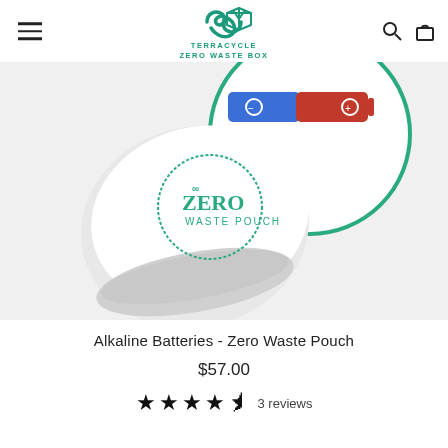TerraCycle Zero Waste Box
[Figure (photo): Product photo showing a white Zero Waste Pouch with 'ZERO WASTE POUCH' stamp, with a round green circle inset showing two AA batteries (blue and red).]
Alkaline Batteries - Zero Waste Pouch
$57.00
★★★★½ 3 reviews